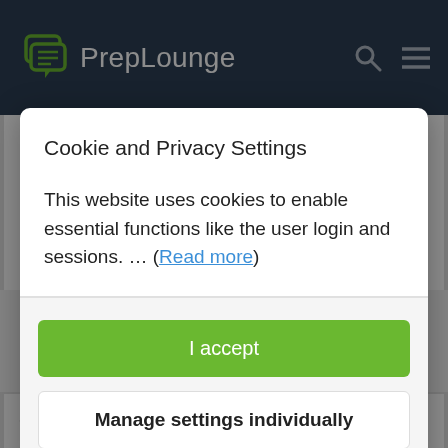PrepLounge
To me, that would probably be at least €10K. Or, how much would you be willing to pay to get an offer outright after failing all interviews? To me, that would probably be worth north of €50K knowing what I know now and given that
Cookie and Privacy Settings
This website uses cookies to enable essential functions like the user login and sessions. ... (Read more)
I accept
Manage settings individually
My preplounge activity is completely immaterial to my